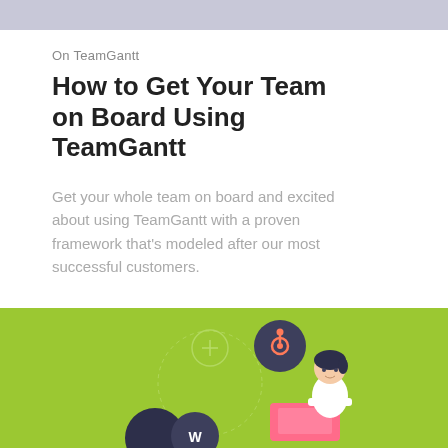On TeamGantt
How to Get Your Team on Board Using TeamGantt
Get your whole team on board and excited about using TeamGantt with a proven framework that's modeled after our most successful customers.
[Figure (illustration): Green background illustration showing a person working at a laptop with various app/integration icons (HubSpot logo, a dark circle with 'W', a person with dark hair) and a circular dotted design element with a plus sign]